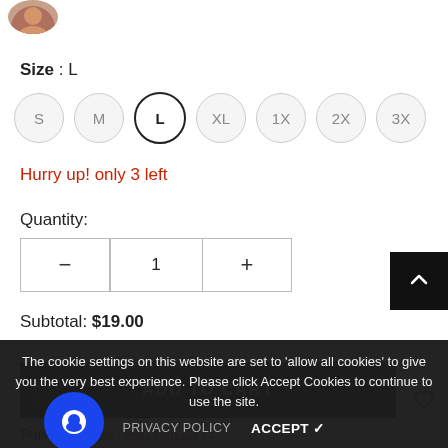[Figure (photo): Partial circular avatar photo of a person, cropped at top-left corner]
Size : L
S  M  L  XL  1X  2X  3X (size selector buttons, L is selected)
Hurry up! only 3 left
Quantity:
— 1 + (quantity stepper)
Subtotal: $19.00
ADD TO CART
The cookie settings on this website are set to 'allow all cookies' to give you the very best experience. Please click Accept Cookies to continue to use the site.
PRIVACY POLICY   ACCEPT ✓
Tags: / Last Few / Ship from US / 2...